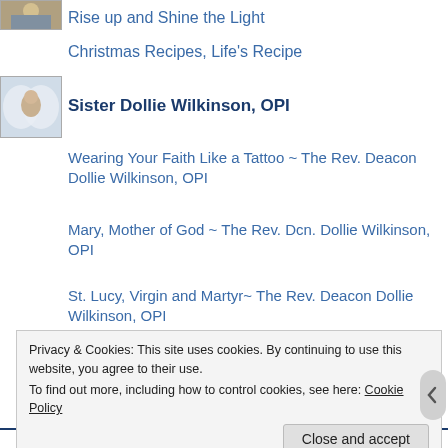[Figure (photo): Small thumbnail image at top left corner, partially visible]
Rise up and Shine the Light
Christmas Recipes, Life's Recipe
[Figure (photo): Thumbnail image of a woman with angel wings background - Sister Dollie Wilkinson]
Sister Dollie Wilkinson, OPI
Wearing Your Faith Like a Tattoo ~ The Rev. Deacon Dollie Wilkinson, OPI
Mary, Mother of God ~ The Rev. Dcn. Dollie Wilkinson, OPI
St. Lucy, Virgin and Martyr~ The Rev. Deacon Dollie Wilkinson, OPI
The Ultimate Defender ~ The Rev Dcn Dollie Wilkinson, OPI
Privacy & Cookies: This site uses cookies. By continuing to use this website, you agree to their use.
To find out more, including how to control cookies, see here: Cookie Policy
Close and accept